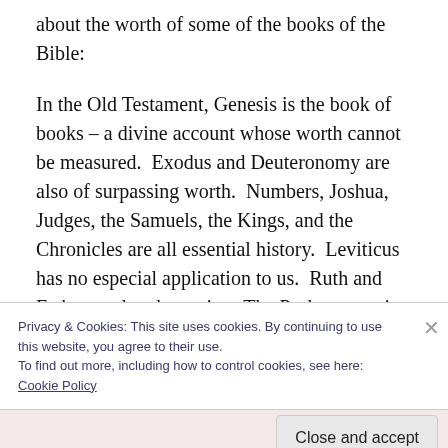about the worth of some of the books of the Bible:
In the Old Testament, Genesis is the book of books – a divine account whose worth cannot be measured. Exodus and Deuteronomy are also of surpassing worth. Numbers, Joshua, Judges, the Samuels, the Kings, and the Chronicles are all essential history. Leviticus has no especial application to us. Ruth and Esther are lovely stories. The Psalms contain
Privacy & Cookies: This site uses cookies. By continuing to use this website, you agree to their use.
To find out more, including how to control cookies, see here:
Cookie Policy
Close and accept